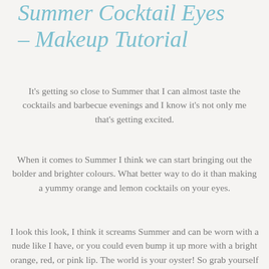Summer Cocktail Eyes – Makeup Tutorial
It's getting so close to Summer that I can almost taste the cocktails and barbecue evenings and I know it's not only me that's getting excited.
When it comes to Summer I think we can start bringing out the bolder and brighter colours. What better way to do it than making a yummy orange and lemon cocktails on your eyes.
I look this look, I think it screams Summer and can be worn with a nude like I have, or you could even bump it up more with a bright orange, red, or pink lip. The world is your oyster! So grab yourself a cocktail and